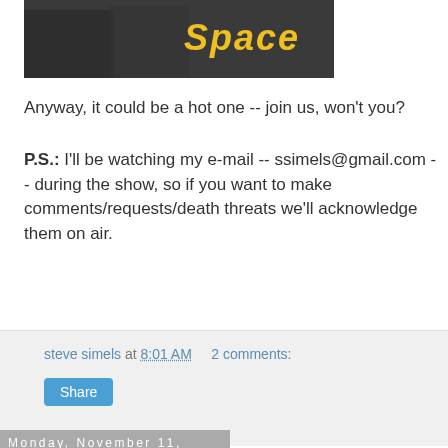[Figure (photo): Partial image showing band/performers with yellow 'Space' text logo on dark background]
Anyway, it could be a hot one -- join us, won't you?
P.S.: I'll be watching my e-mail -- ssimels@gmail.com -- during the show, so if you want to make comments/requests/death threats we'll acknowledge them on air.
steve simels at 8:01 AM   2 comments:
Share
Monday, November 11, 2019
Electrical Banana
From 1967, and the wonderful (but not released until 1969) Elephant Mountain album by The Youngbloods, please enjoy the fabulous (and surprisingly classically influenced instrument...)"O...Si...Francis Roch..."